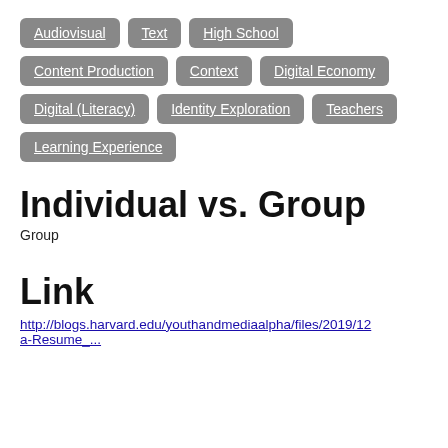Audiovisual
Text
High School
Content Production
Context
Digital Economy
Digital (Literacy)
Identity Exploration
Teachers
Learning Experience
Individual vs. Group
Group
Link
http://blogs.harvard.edu/youthandmediaalpha/files/2019/12a-Resume_...